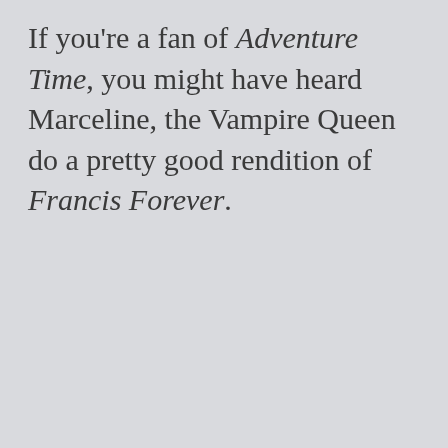If you're a fan of Adventure Time, you might have heard Marceline, the Vampire Queen do a pretty good rendition of Francis Forever.